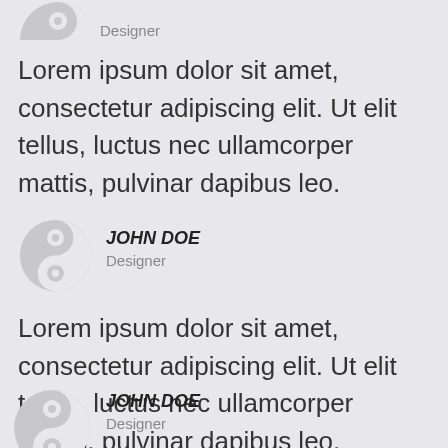[Figure (illustration): Partial yin-yang avatar icon, cropped at top-left of page]
Designer
Lorem ipsum dolor sit amet, consectetur adipiscing elit. Ut elit tellus, luctus nec ullamcorper mattis, pulvinar dapibus leo.
[Figure (illustration): Yin-yang avatar icon in gray and white]
JOHN DOE
Designer
Lorem ipsum dolor sit amet, consectetur adipiscing elit. Ut elit tellus, luctus nec ullamcorper mattis, pulvinar dapibus leo.
[Figure (illustration): Partial yin-yang avatar icon at bottom-left of page]
JOHN DOE
Designer